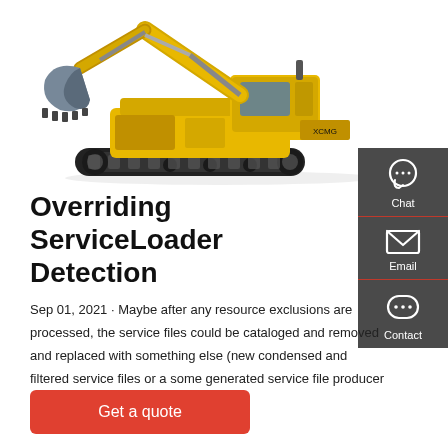[Figure (photo): Yellow excavator/crawler machine with bucket arm raised, viewed from the side, on white background]
Overriding ServiceLoader Detection
Sep 01, 2021 · Maybe after any resource exclusions are processed, the service files could be cataloged and removed and replaced with something else (new condensed and filtered service files or a some generated service file producer or something).
[Figure (infographic): Side panel with Chat, Email, and Contact icons on dark grey background]
Get a quote